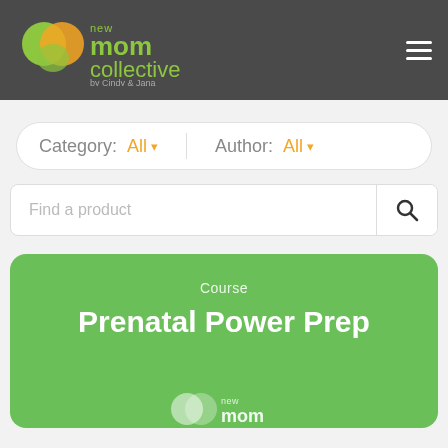[Figure (logo): New Mom Collective logo — two overlapping circles (green and yellow forming a heart) with text 'new mom collective by Cindy & Jana']
Category: All ▾   Author: All ▾
Find a product
Course
Prenatal Power Prep